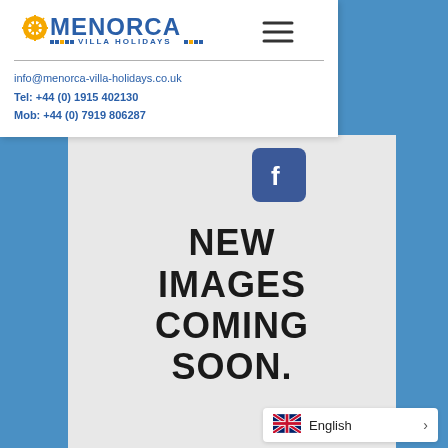[Figure (logo): Menorca Villa Holidays logo with sun icon and colored squares]
[Figure (other): Hamburger menu icon (three horizontal lines)]
info@menorca-villa-holidays.co.uk
Tel: +44 (0) 1915 402130
Mob: +44 (0) 7919 806287
[Figure (other): Facebook icon button]
[Figure (photo): Image placeholder reading NEW IMAGES COMING SOON. in bold black text on light grey background]
English